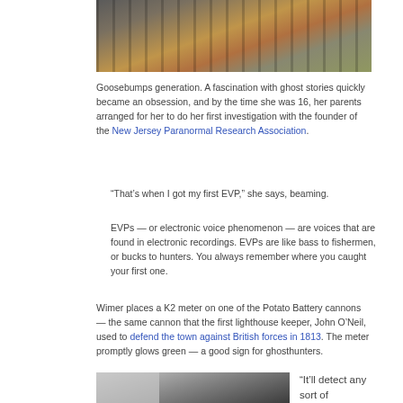[Figure (photo): Top-down view of a brick walkway with wooden fence railings on both sides, with sunlight casting shadows across the path]
Goosebumps generation. A fascination with ghost stories quickly became an obsession, and by the time she was 16, her parents arranged for her to do her first investigation with the founder of the New Jersey Paranormal Research Association.
“That’s when I got my first EVP,” she says, beaming.
EVPs — or electronic voice phenomenon — are voices that are found in electronic recordings. EVPs are like bass to fishermen, or bucks to hunters. You always remember where you caught your first one.
Wimer places a K2 meter on one of the Potato Battery cannons — the same cannon that the first lighthouse keeper, John O’Neil, used to defend the town against British forces in 1813. The meter promptly glows green — a good sign for ghosthunters.
[Figure (photo): Dark photo showing a light-colored object on the left and a dark background on the right, possibly a paranormal investigation scene]
“It’ll detect any sort of